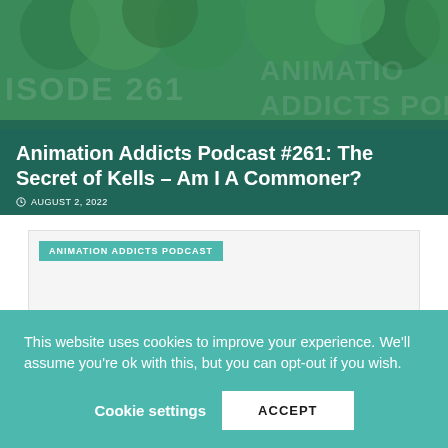[Figure (photo): Hero image with dark teal/green background showing foliage, with podcast episode title overlay. Text reads: Animation Addicts Podcast #261: The Secret of Kells – Am I A Commoner? Dated AUGUST 2, 2022. Semi-transparent watermark text visible: ISODE 261 ANIMATION ADDICTS PODCA]
Animation Addicts Podcast #261: The Secret of Kells – Am I A Commoner?
AUGUST 2, 2022
ANIMATION ADDICTS PODCAST
This website uses cookies to improve your experience. We'll assume you're ok with this, but you can opt-out if you wish.
Cookie settings
ACCEPT